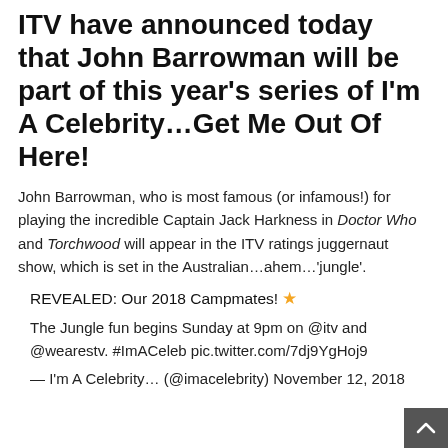ITV have announced today that John Barrowman will be part of this year's series of I'm A Celebrity…Get Me Out Of Here!
John Barrowman, who is most famous (or infamous!) for playing the incredible Captain Jack Harkness in Doctor Who and Torchwood will appear in the ITV ratings juggernaut show, which is set in the Australian…ahem…'jungle'.
REVEALED: Our 2018 Campmates! ⭐
The Jungle fun begins Sunday at 9pm on @itv and @wearestv. #ImACeleb pic.twitter.com/7dj9YgHoj9
— I'm A Celebrity… (@imacelebrity) November 12, 2018